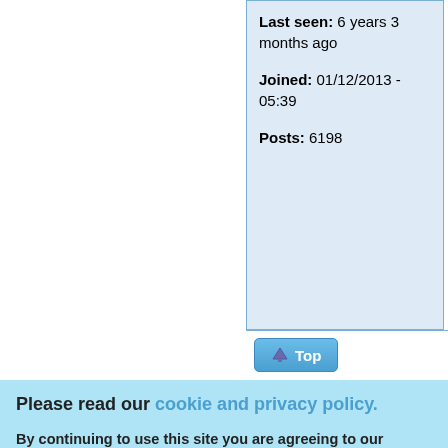Last seen: 6 years 3 months ago
Joined: 01/12/2013 - 05:39
Posts: 6198
Top
Please read our cookie and privacy policy.
By continuing to use this site you are agreeing to our cookie and privacy policy. No, give me more info
OK, I agree